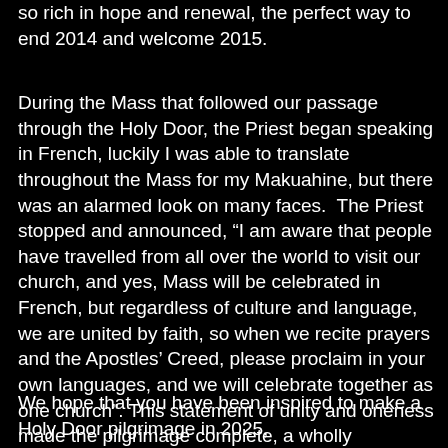so rich in hope and renewal, the perfect way to end 2014 and welcome 2015.
During the Mass that followed our passage through the Holy Door, the Priest began speaking in French, luckily I was able to translate throughout the Mass for my Makuahine, but there was an alarmed look on many faces.  The Priest stopped and announced, “I am aware that people have travelled from all over the world to visit our church, and yes, Mass will be celebrated in French, but regardless of culture and language, we are united by faith, so when we recite prayers and the Apostles’ Creed, please proclaim in your own languages, and we will celebrate together as one church”. This statement of unity and oneness made the pilgrimage complete, a wholly welcoming, renewing, enlightening experience of faith.
We hope that you have been inspired to make a Holy Door pilgrimage in 2025,